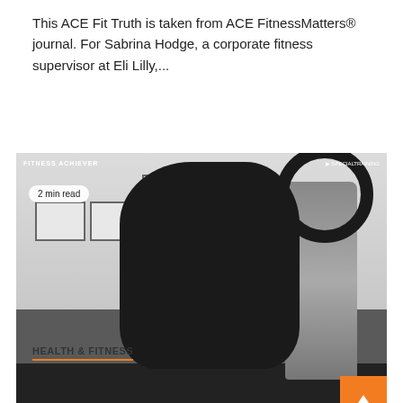This ACE Fit Truth is taken from ACE FitnessMatters® journal. For Sabrina Hodge, a corporate fitness supervisor at Eli Lilly,...
[Figure (photo): A woman in black athletic wear using a fitness machine (possibly a vibration plate or similar equipment) in a gym setting with framed certificates on the wall behind her. Video thumbnail with '2 min read' badge in upper left, watermarks reading 'FITNESS ACHIEVER' and 'SPECIALTRAINING', and an orange scroll-to-top button in the lower right.]
HEALTH & FITNESS